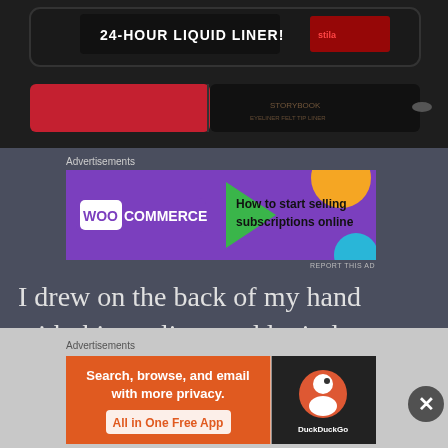[Figure (photo): Close-up photo of two eyeliner products on a dark surface. Top product is a black tube labeled '24-HOUR LIQUID LINER!' with red text. Bottom product is a red and black eyeliner pencil.]
Advertisements
[Figure (other): WooCommerce advertisement banner with purple background, green arrow shape, orange circle, and text: 'How to start selling subscriptions online']
REPORT THIS AD
I drew on the back of my hand with this eyeliner and let it dry. The tip is very precise and easy to use for now. When I rubbed my finger across my swatches nothing
Advertisements
[Figure (other): DuckDuckGo advertisement banner with orange background on the left side reading 'Search, browse, and email with more privacy. All in One Free App' and DuckDuckGo logo on dark right panel.]